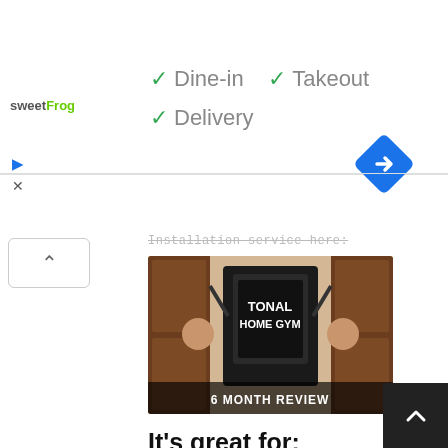[Figure (screenshot): Ad banner showing sweetFrog logo and service options: checkmark Dine-in, checkmark Takeout, checkmark Delivery. Blue diamond navigation icon on the right.]
[Figure (screenshot): Partially visible strikethrough text reading 'Installation service here']
[Figure (photo): Video thumbnail showing a home gym with Tonal equipment and two people peeking from behind doors. Text overlay reads '6 MONTH REVIEW']
It’s great for:
Home gym users who need a machine that does everything
Those who like guided workouts and a personal trainer feel
Someone looking for a home